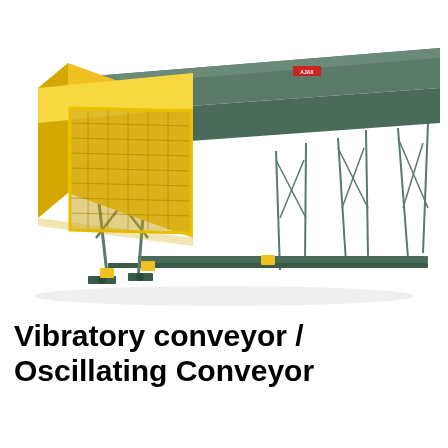[Figure (photo): A vibratory / oscillating conveyor machine. It is a long industrial conveyor unit with a grey steel frame and structural supports along its length. On the left end is a large yellow safety guard housing enclosing the drive mechanism with mesh screening visible. Small yellow warning labels are visible on the frame. The conveyor trough runs horizontally to the right, elevated on a steel support structure with X-bracing legs.]
Vibratory conveyor / Oscillating Conveyor